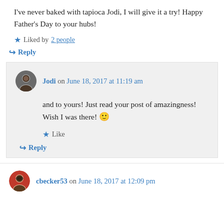I've never baked with tapioca Jodi, I will give it a try! Happy Father's Day to your hubs!
Liked by 2 people
Reply
Jodi on June 18, 2017 at 11:19 am
and to yours! Just read your post of amazingness! Wish I was there! 🙂
Like
Reply
cbecker53 on June 18, 2017 at 12:09 pm